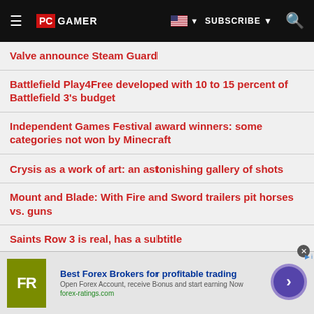PC GAMER | SUBSCRIBE | Search
Valve announce Steam Guard
Battlefield Play4Free developed with 10 to 15 percent of Battlefield 3's budget
Independent Games Festival award winners: some categories not won by Minecraft
Crysis as a work of art: an astonishing gallery of shots
Mount and Blade: With Fire and Sword trailers pit horses vs. guns
Saints Row 3 is real, has a subtitle
Braben keeps dream of Elite 4 alive
[Figure (infographic): Advertisement banner for forex-ratings.com: Best Forex Brokers for profitable trading. Open Forex Account, receive Bonus and start earning Now. forex-ratings.com]